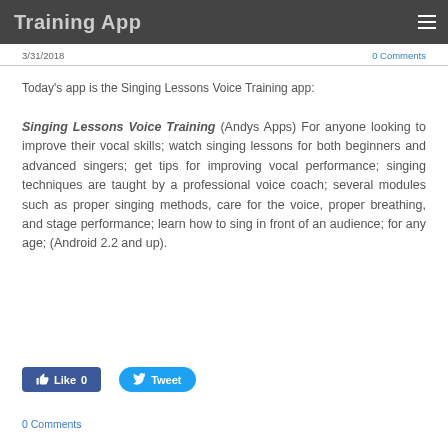Training App
3/31/2018
0 Comments
Today's app is the Singing Lessons Voice Training app:
Singing Lessons Voice Training (Andys Apps) For anyone looking to improve their vocal skills; watch singing lessons for both beginners and advanced singers; get tips for improving vocal performance; singing techniques are taught by a professional voice coach; several modules such as proper singing methods, care for the voice, proper breathing, and stage performance; learn how to sing in front of an audience; for any age; (Android 2.2 and up).
Like 0
Tweet
0 Comments